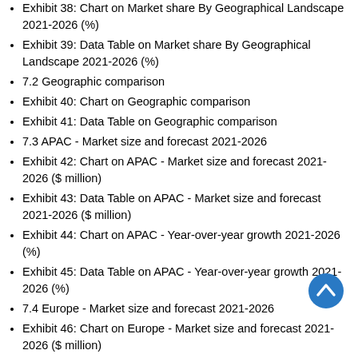Exhibit 38: Chart on Market share By Geographical Landscape 2021-2026 (%)
Exhibit 39: Data Table on Market share By Geographical Landscape 2021-2026 (%)
7.2 Geographic comparison
Exhibit 40: Chart on Geographic comparison
Exhibit 41: Data Table on Geographic comparison
7.3 APAC - Market size and forecast 2021-2026
Exhibit 42: Chart on APAC - Market size and forecast 2021-2026 ($ million)
Exhibit 43: Data Table on APAC - Market size and forecast 2021-2026 ($ million)
Exhibit 44: Chart on APAC - Year-over-year growth 2021-2026 (%)
Exhibit 45: Data Table on APAC - Year-over-year growth 2021-2026 (%)
7.4 Europe - Market size and forecast 2021-2026
Exhibit 46: Chart on Europe - Market size and forecast 2021-2026 ($ million)
Exhibit 47: Data Table on Europe - Market size and forecast 2021-2026 ($ million)